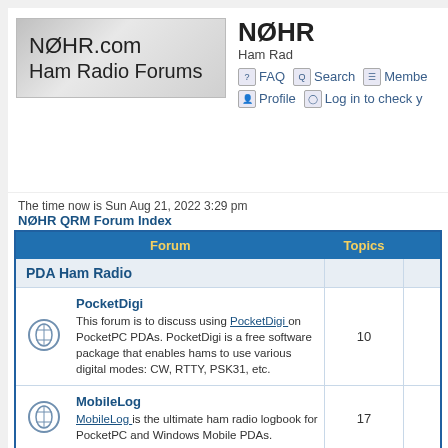[Figure (logo): N0HR.com Ham Radio Forums logo banner - grey gradient background with text]
N0HR
Ham Rad
FAQ  Search  Membe  Profile  Log in to check y
The time now is Sun Aug 21, 2022 3:29 pm
N0HR QRM Forum Index
| Forum | Topics |  |
| --- | --- | --- |
| PDA Ham Radio |  |  |
| PocketDigi
This forum is to discuss using PocketDigi on PocketPC PDAs. PocketDigi is a free software package that enables hams to use various digital modes: CW, RTTY, PSK31, etc. | 10 |  |
| MobileLog
MobileLog is the ultimate ham radio logbook for PocketPC and Windows Mobile PDAs. | 17 |  |
| PPCMorse |  |  |